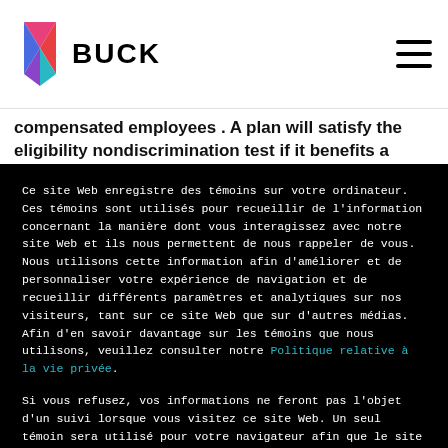[Figure (logo): BUCK logo — colorful triangular icon followed by bold text BUCK]
[Figure (other): Hamburger menu icon (three horizontal lines)]
compensated employees . A plan will satisfy the eligibility nondiscrimination test if it benefits a group
Ce site Web enregistre des témoins sur votre ordinateur. Ces témoins sont utilisés pour recueillir de l'information concernant la manière dont vous interagissez avec notre site Web et ils nous permettent de nous rappeler de vous. Nous utilisons cette information afin d'améliorer et de personnaliser votre expérience de navigation et de recueillir différents paramètres et analytiques sur nos visiteurs, tant sur ce site Web que sur d'autres médias. Afin d'en savoir davantage sur les témoins que nous utilisons, veuillez consulter notre Politique relative à la vie privée.
Si vous refusez, vos informations ne feront pas l'objet d'un suivi lorsque vous visitez ce site Web. Un seul témoin sera utilisé pour votre navigateur afin que le site se souvienne de ne pas garder vos préférences en mémoire.
Accepter
Refuser